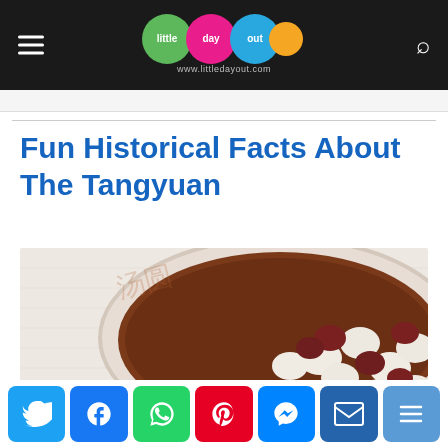little day out — www.littledayout.com
Fun Historical Facts About The Tangyuan
[Figure (photo): A bowl of tangyuan (glutinous rice balls) in sweet red bean soup, viewed from above, with white and dark colored balls floating in dark broth in a white bowl.]
Social sharing buttons: Twitter, Facebook, WhatsApp, Pinterest, Messenger, Email, More